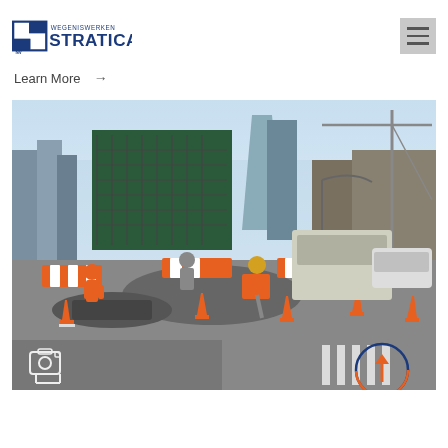[Figure (logo): WEGENISWERKEN STRATICA NV company logo — blue stylized S shape on left, text WEGENISWERKEN above STRATICA in large navy letters, NV in small text below the S graphic]
Learn More →
[Figure (photo): Urban road construction site photo. Workers in orange high-visibility suits using jackhammers to break up asphalt on a city street. Orange traffic cones and barriers surround the work zone. Background shows a city skyline with a building under construction, cranes, a large truck, and parked vehicles. Lower-left overlay shows a camera icon in white outline. Lower-right overlay shows a circle with an up arrow, outlined in navy blue with an orange arrow.]